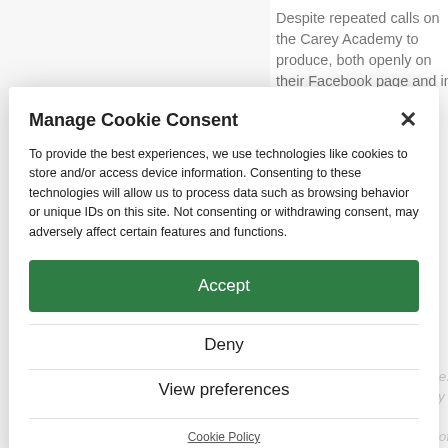Despite repeated calls on the Carey Academy to produce, both openly on their Facebook page and in alternative media outlets, the Academy has not offered one scintilla of evidence to back up their claims of threats to teachers, parents and students by the Ireland Palestine solidarity campaign, the individuals named: Raymond Deane, Kevin Squires, Annette Groth, and others elsewhere. Further, we challenge Carey Academy to produce any evidence that any member of IPSC, or anyone directly associated with it, made threats to the organisers or anyone else connected to the Carey Academy on any platform. IPSC and the Israeli Feis: And we reiterate that absolutely no evidence has been proffered to substantiate such claims.
With regard to the demonstration at the school in Birmingham, which the Carey Academy insinuates contributed to the 'safety' of [people] connected with the Academy', the IPSC contacted the England-based org... of the protest who provided us with video and...
Manage Cookie Consent
To provide the best experiences, we use technologies like cookies to store and/or access device information. Consenting to these technologies will allow us to process data such as browsing behavior or unique IDs on this site. Not consenting or withdrawing consent, may adversely affect certain features and functions.
Accept
Deny
View preferences
Cookie Policy